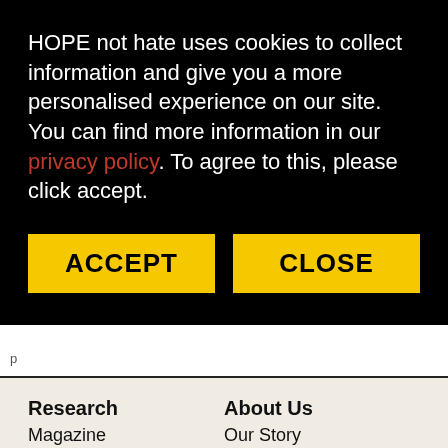HOPE not hate uses cookies to collect information and give you a more personalised experience on our site. You can find more information in our privacy policy. To agree to this, please click accept.
ACCEPT
CLOSE
Research
Magazine
Blog
About Us
Our Story
Careers